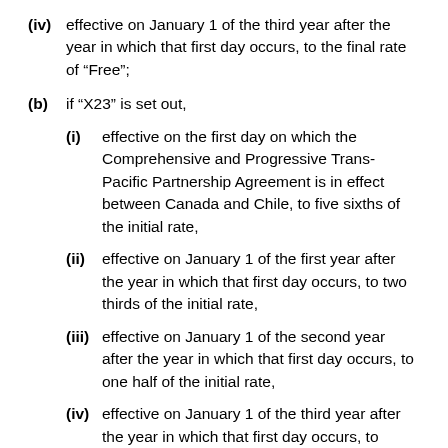(iv) effective on January 1 of the third year after the year in which that first day occurs, to the final rate of “Free”;
(b) if “X23” is set out,
(i) effective on the first day on which the Comprehensive and Progressive Trans-Pacific Partnership Agreement is in effect between Canada and Chile, to five sixths of the initial rate,
(ii) effective on January 1 of the first year after the year in which that first day occurs, to two thirds of the initial rate,
(iii) effective on January 1 of the second year after the year in which that first day occurs, to one half of the initial rate,
(iv) effective on January 1 of the third year after the year in which that first day occurs, to